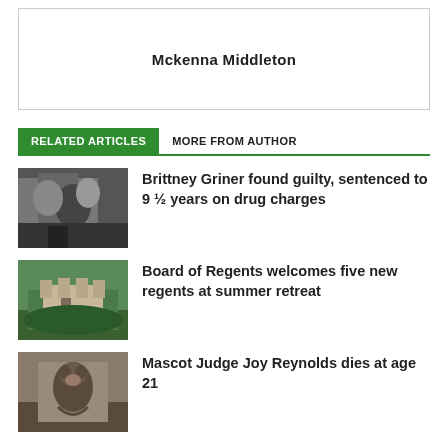Mckenna Middleton
RELATED ARTICLES | MORE FROM AUTHOR
Brittney Griner found guilty, sentenced to 9 ½ years on drug charges
Board of Regents welcomes five new regents at summer retreat
Mascot Judge Joy Reynolds dies at age 21